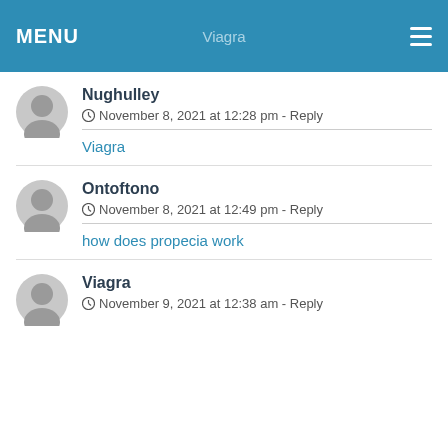MENU  Viagra  ≡
Nughulley
November 8, 2021 at 12:28 pm - Reply
Viagra
Ontoftono
November 8, 2021 at 12:49 pm - Reply
how does propecia work
Viagra
November 9, 2021 at 12:38 am - Reply